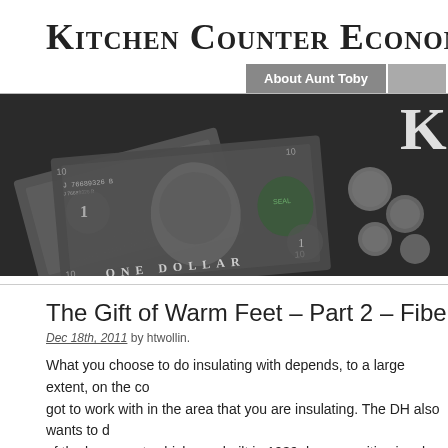Kitchen Counter Economics
About Aunt Toby
[Figure (photo): Banner image showing US dollar bills and coins in black and white with a letter K visible on the right side]
The Gift of Warm Feet – Part 2 – Fiberglass
Dec 18th, 2011 by htwollin.
What you choose to do insulating with depends, to a large extent, on the co got to work with in the area that you are insulating. The DH also wants to d of the basement, which was built in 1939, has a positive jungle of electric w and contain is in the ceiling. So the area is a box a number and contain